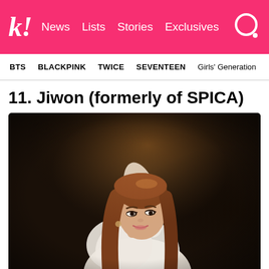k! News Lists Stories Exclusives
BTS BLACKPINK TWICE SEVENTEEN Girls' Generation
11. Jiwon (formerly of SPICA)
[Figure (photo): A young Korean woman with long brown hair wearing a white outfit, posing with her hand raised near her head against a dark background.]